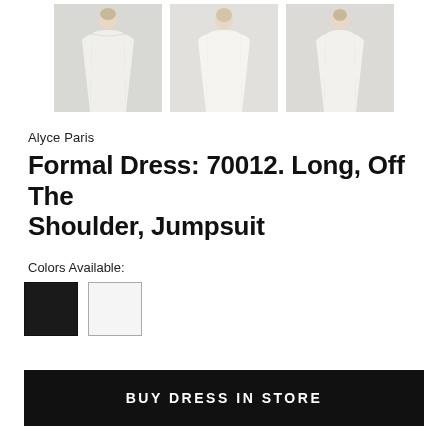[Figure (photo): Three product photos of a white formal off-the-shoulder jumpsuit/dress, shown from front and back angles on a model]
Alyce Paris
Formal Dress: 70012. Long, Off The Shoulder, Jumpsuit
Colors Available:
[Figure (other): Two color swatches: black and white]
BUY DRESS IN STORE